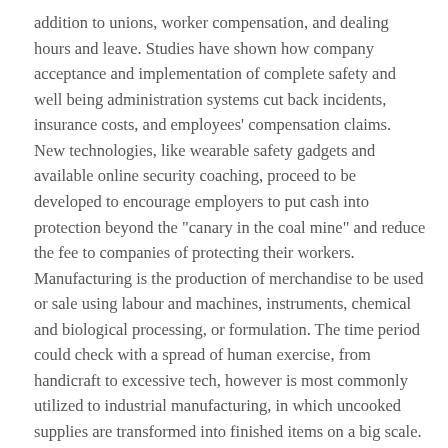addition to unions, worker compensation, and dealing hours and leave. Studies have shown how company acceptance and implementation of complete safety and well being administration systems cut back incidents, insurance costs, and employees' compensation claims. New technologies, like wearable safety gadgets and available online security coaching, proceed to be developed to encourage employers to put cash into protection beyond the "canary in the coal mine" and reduce the fee to companies of protecting their workers. Manufacturing is the production of merchandise to be used or sale using labour and machines, instruments, chemical and biological processing, or formulation. The time period could check with a spread of human exercise, from handicraft to excessive tech, however is most commonly utilized to industrial manufacturing, in which uncooked supplies are transformed into finished items on a big scale. There are, nonetheless, many, many sub-categories of types of firm that may be fashioned in various jurisdictions in the world.